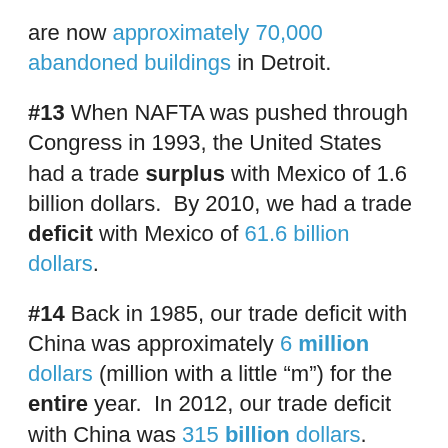are now approximately 70,000 abandoned buildings in Detroit.
#13 When NAFTA was pushed through Congress in 1993, the United States had a trade surplus with Mexico of 1.6 billion dollars.  By 2010, we had a trade deficit with Mexico of 61.6 billion dollars.
#14 Back in 1985, our trade deficit with China was approximately 6 million dollars (million with a little “m”) for the entire year.  In 2012, our trade deficit with China was 315 billion dollars.  That was the largest trade deficit that one nation has had with another nation in the history of the world.
#15 Currently, the United States has...